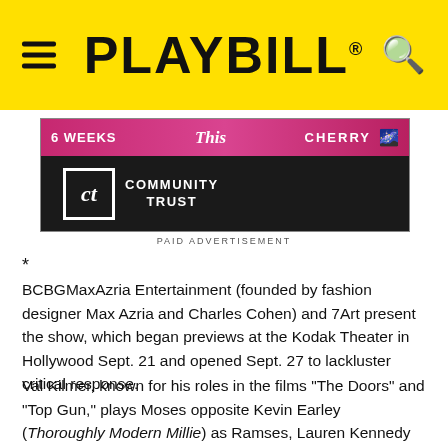PLAYBILL
[Figure (screenshot): Advertisement banner for 'This Community Trust' with pink and dark background, showing '6 WEEKS', 'This', 'CHERRY', and CT logo]
PAID ADVERTISEMENT
*
BCBGMaxAzria Entertainment (founded by fashion designer Max Azria and Charles Cohen) and 7Art present the show, which began previews at the Kodak Theater in Hollywood Sept. 21 and opened Sept. 27 to lackluster critical response.
Val Kilmer, known for his roles in the films "The Doors" and "Top Gun," plays Moses opposite Kevin Earley (Thoroughly Modern Millie) as Ramses, Lauren Kennedy (Side Show) as Nefertari and Ipale as Seti. The principal cast will also